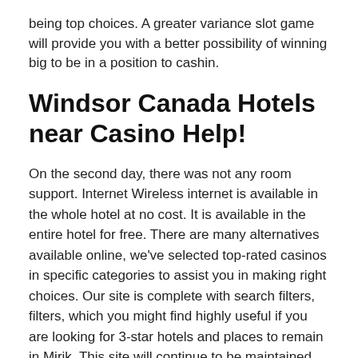being top choices. A greater variance slot game will provide you with a better possibility of winning big to be in a position to cashin.
Windsor Canada Hotels near Casino Help!
On the second day, there was not any room support. Internet Wireless internet is available in the whole hotel at no cost. It is available in the entire hotel for free. There are many alternatives available online, we've selected top-rated casinos in specific categories to assist you in making right choices. Our site is complete with search filters, filters, which you might find highly useful if you are looking for 3-star hotels and places to remain in Mirik. This site will continue to be maintained so as to provide continued accessibility to this work. This website is going to be